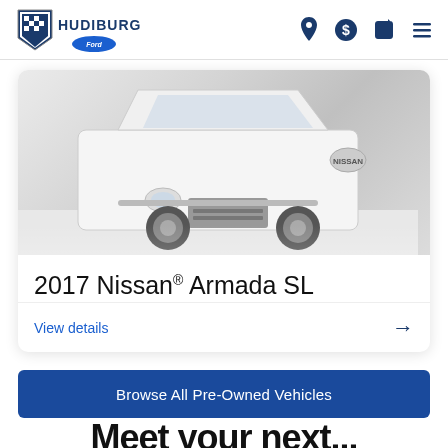[Figure (logo): Hudiburg Ford dealership logo with shield icon and Ford oval badge]
[Figure (photo): White 2017 Nissan Armada SL SUV photographed from the front-left angle in a showroom]
2017 Nissan® Armada SL
View details →
Browse All Pre-Owned Vehicles
Meet your next...